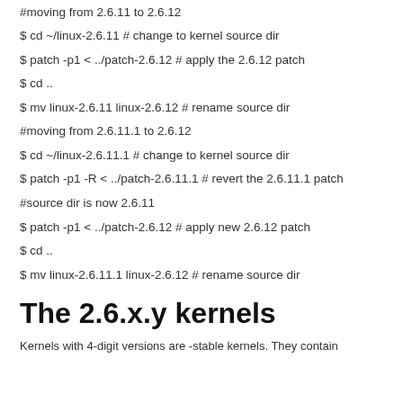#moving from 2.6.11 to 2.6.12
$ cd ~/linux-2.6.11 # change to kernel source dir
$ patch -p1 < ../patch-2.6.12 # apply the 2.6.12 patch
$ cd ..
$ mv linux-2.6.11 linux-2.6.12 # rename source dir
#moving from 2.6.11.1 to 2.6.12
$ cd ~/linux-2.6.11.1 # change to kernel source dir
$ patch -p1 -R < ../patch-2.6.11.1 # revert the 2.6.11.1 patch
#source dir is now 2.6.11
$ patch -p1 < ../patch-2.6.12 # apply new 2.6.12 patch
$ cd ..
$ mv linux-2.6.11.1 linux-2.6.12 # rename source dir
The 2.6.x.y kernels
Kernels with 4-digit versions are -stable kernels. They contain